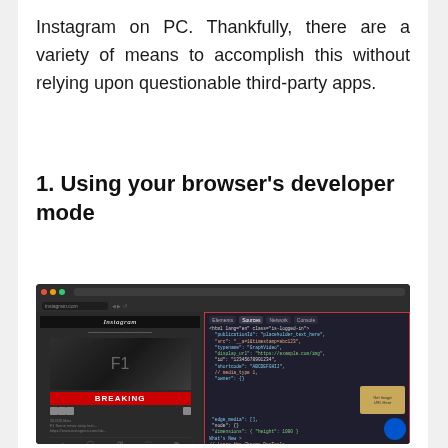Instagram on PC. Thankfully, there are a variety of means to accomplish this without relying upon questionable third-party apps.
1.  Using your browser's developer mode
[Figure (screenshot): Screenshot of a browser showing Instagram website alongside open browser developer tools panel with a dark theme, showing HTML/CSS code. The Instagram panel shows a Formula 1 post with a 'BREAKING' red banner.]